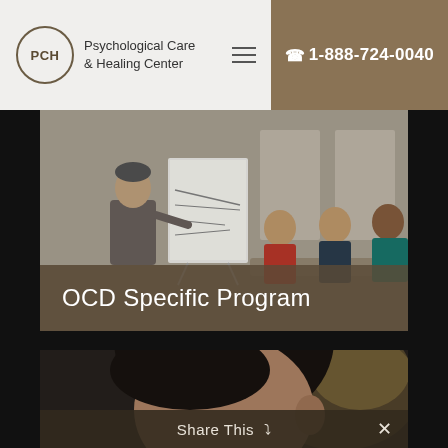PCH Psychological Care & Healing Center | ☎ 1-888-724-0040
[Figure (photo): Therapist standing at a flip chart with graphs, presenting to three seated patients in a group therapy session]
OCD Specific Program
[Figure (photo): Close-up of a young woman with dark hair, looking down slightly, in a therapy or counseling context]
Share This